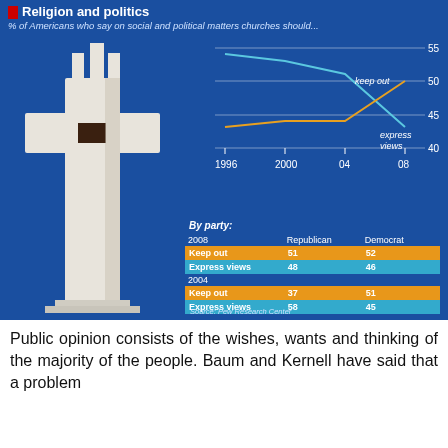[Figure (line-chart): Religion and politics]
| 2008 | Republican | Democrat |
| --- | --- | --- |
| Keep out | 51 | 52 |
| Express views | 48 | 46 |
| 2004 |  |  |
| Keep out | 37 | 51 |
| Express views | 58 | 45 |
Public opinion consists of the wishes, wants and thinking of the majority of the people. Baum and Kernell have said that a problem